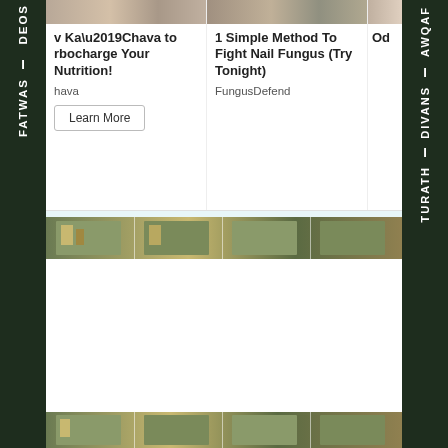[Figure (screenshot): Left vertical navigation sidebar with dark green background showing menu items: DEOS, I, FATWAS stacked vertically in white bold text]
[Figure (screenshot): Right vertical navigation sidebar with dark green background showing menu items: AWQAF, I, DIVANS, I, TURATH stacked vertically in white bold text]
v Ka’Chava to rbocharge Your Nutrition!
1 Simple Method To Fight Nail Fungus (Try Tonight)
Od
hava
FungusDefend
[Figure (photo): Horizontal banner strip of repeated thumbnail images of buildings/architecture]
[Figure (photo): Bottom horizontal strip of repeated thumbnail images of buildings/architecture]